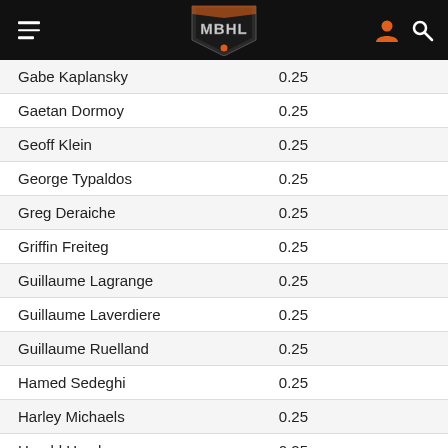MBHL logo header with hamburger menu, user icon, and search icon
| Name | Value |
| --- | --- |
| Gabe Kaplansky | 0.25 |
| Gaetan Dormoy | 0.25 |
| Geoff Klein | 0.25 |
| George Typaldos | 0.25 |
| Greg Deraiche | 0.25 |
| Griffin Freiteg | 0.25 |
| Guillaume Lagrange | 0.25 |
| Guillaume Laverdiere | 0.25 |
| Guillaume Ruelland | 0.25 |
| Hamed Sedeghi | 0.25 |
| Harley Michaels | 0.25 |
| Harold Hersh | 0.25 |
| Harry Angelou | 0.25 |
| Hugo Chiasson | 0.25 |